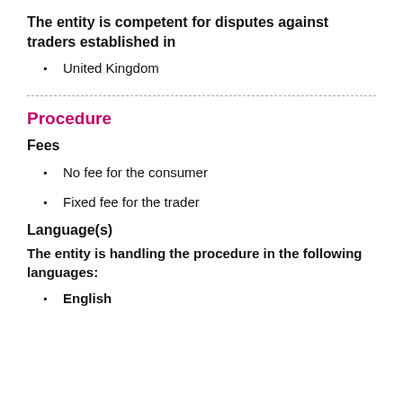The entity is competent for disputes against traders established in
United Kingdom
Procedure
Fees
No fee for the consumer
Fixed fee for the trader
Language(s)
The entity is handling the procedure in the following languages:
English